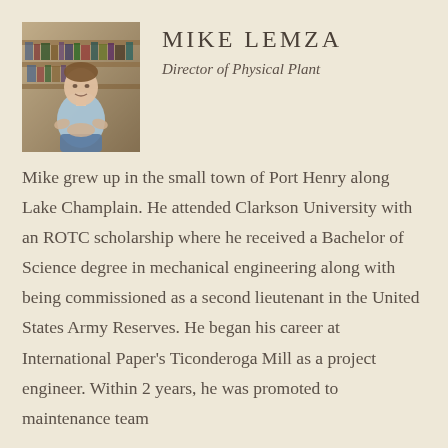[Figure (photo): Headshot photo of Mike Lemza, a man in a light blue polo shirt standing in front of bookshelves]
MIKE LEMZA
Director of Physical Plant
Mike grew up in the small town of Port Henry along Lake Champlain. He attended Clarkson University with an ROTC scholarship where he received a Bachelor of Science degree in mechanical engineering along with being commissioned as a second lieutenant in the United States Army Reserves. He began his career at International Paper's Ticonderoga Mill as a project engineer. Within 2 years, he was promoted to maintenance team